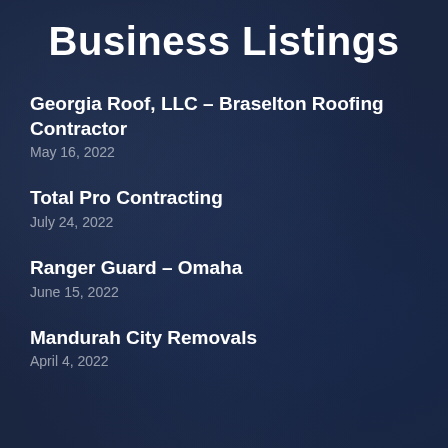Business Listings
Georgia Roof, LLC – Braselton Roofing Contractor
May 16, 2022
Total Pro Contracting
July 24, 2022
Ranger Guard – Omaha
June 15, 2022
Mandurah City Removals
April 4, 2022